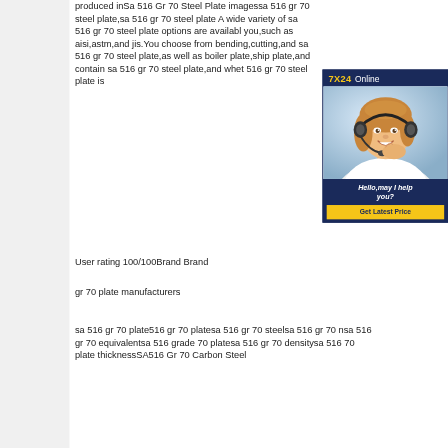produced inSa 516 Gr 70 Steel Plate imagessa 516 gr 70 steel plate,sa 516 gr 70 steel plate A wide variety of sa 516 gr 70 steel plate options are available you,such as aisi,astm,and jis.You choose from bending,cutting,and sa 516 gr 70 steel plate,as well as boiler plate,ship plate,and container sa 516 gr 70 steel plate,and whether 516 gr 70 steel plate is
[Figure (photo): Online chat support advertisement showing a woman with a headset, '7X24 Online' header, 'Hello, may I help you?' message, and 'Get Latest Price' button]
User rating 100/100Brand Brand
gr 70 plate manufacturers
sa 516 gr 70 plate516 gr 70 platesa 516 gr 70 steelsa 516 gr 70 nsa 516 gr 70 equivalentsa 516 grade 70 platesa 516 gr 70 densitysa 516 70 plate thicknessSA516 Gr 70 Carbon Steel